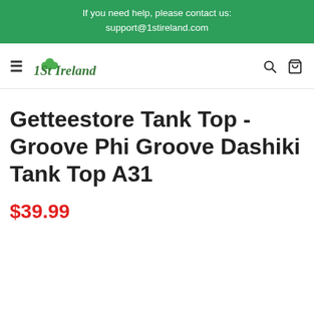If you need help, please contact us:
support@1stireland.com
[Figure (logo): 1StIreland logo with shamrock graphic]
Getteestore Tank Top - Groove Phi Groove Dashiki Tank Top A31
$39.99